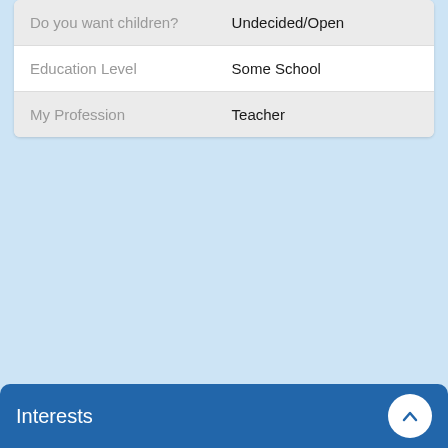| Field | Value |
| --- | --- |
| Do you want children? | Undecided/Open |
| Education Level | Some School |
| My Profession | Teacher |
Interests